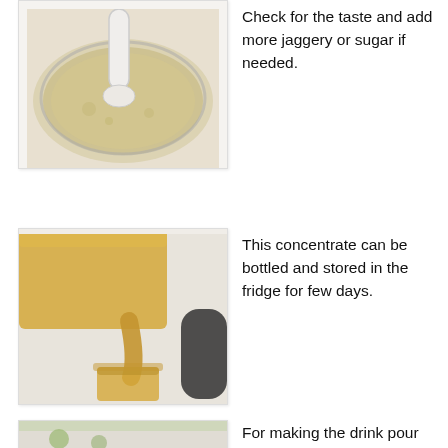[Figure (photo): A glass bowl with a pale yellow liquid being stirred with a white spoon, viewed from above.]
Check for the taste and add more jaggery or sugar if needed.
[Figure (photo): Golden liquid concentrate being poured from a large container into a small glass jar.]
This concentrate can be bottled and stored in the fridge for few days.
[Figure (photo): A glass with a lemon drink visible at the bottom of the frame.]
For making the drink pour